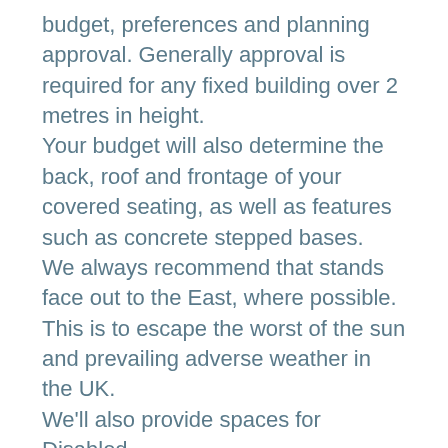budget, preferences and planning approval. Generally approval is required for any fixed building over 2 metres in height.
Your budget will also determine the back, roof and frontage of your covered seating, as well as features such as concrete stepped bases.
We always recommend that stands face out to the East, where possible. This is to escape the worst of the sun and prevailing adverse weather in the UK.
We'll also provide spaces for Disabled